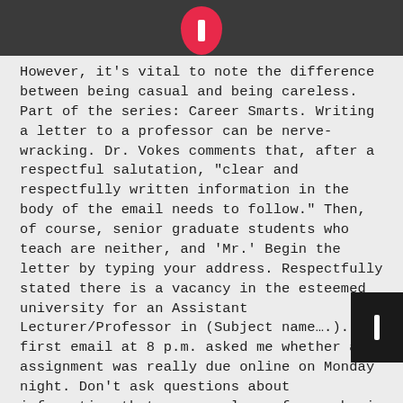However, it's vital to note the difference between being casual and being careless. Part of the series: Career Smarts. Writing a letter to a professor can be nerve-wracking. Dr. Vokes comments that, after a respectful salutation, "clear and respectfully written information in the body of the email needs to follow." Then, of course, senior graduate students who teach are neither, and 'Mr.' Begin the letter by typing your address. Respectfully stated there is a vacancy in the esteemed university for an Assistant Lecturer/Professor in (Subject name….). The first email at 8 p.m. asked me whether an assignment was really due online on Monday night. Don't ask questions about information that you can learn from a basic internet or database search. [last name] I am writing this letter regarding